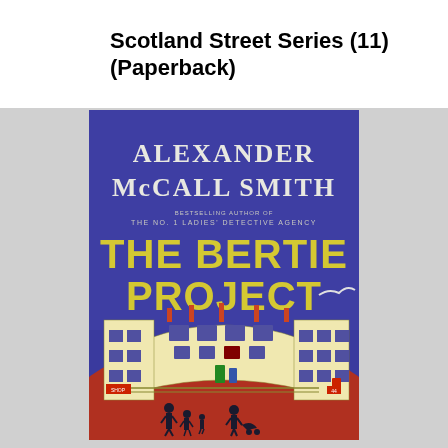Scotland Street Series (11) (Paperback)
[Figure (illustration): Book cover of 'The Bertie Project' by Alexander McCall Smith. Blue background with large yellow text reading 'THE BERTIE PROJECT'. White serif text at top reads 'ALEXANDER McCALL SMITH'. Below in smaller text: 'BESTSELLING AUTHOR OF THE NO. 1 LADIES' DETECTIVE AGENCY'. Lower portion shows a stylized curved illustration of Edinburgh-style tenement buildings in cream/yellow with dark windows and red chimneys, set against a red cobblestone-like ground with silhouettes of people walking.]